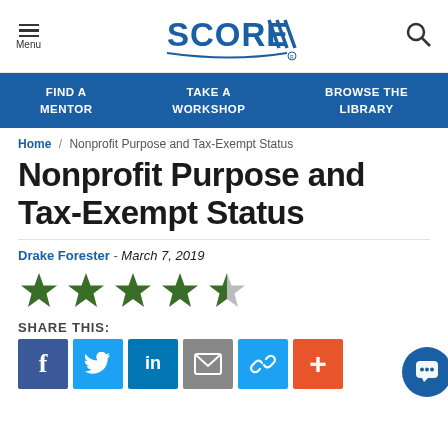SCORE - Menu | FIND A MENTOR | TAKE A WORKSHOP | BROWSE THE LIBRARY
Home / Nonprofit Purpose and Tax-Exempt Status
Nonprofit Purpose and Tax-Exempt Status
Drake Forester - March 7, 2019
[Figure (other): 4.5 out of 5 star rating shown with green filled stars and one half-filled star]
SHARE THIS:
[Figure (other): Social share buttons: Facebook, Twitter, LinkedIn, Email, Link, Plus]